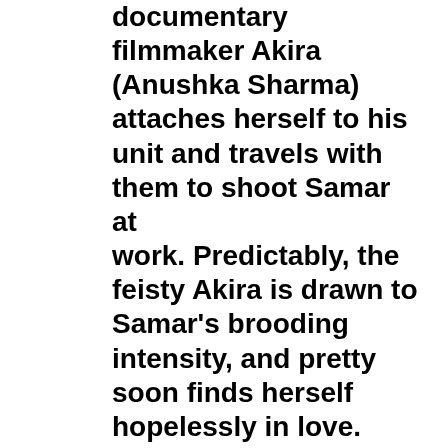documentary filmmaker Akira (Anushka Sharma) attaches herself to his unit and travels with them to shoot Samar at work. Predictably, the feisty Akira is drawn to Samar's brooding intensity, and pretty soon finds herself hopelessly in love.

Jab Tak Hai Jaan has the novelty of modern treatment, seen during Samar and Meera's courtship where they make out in phone